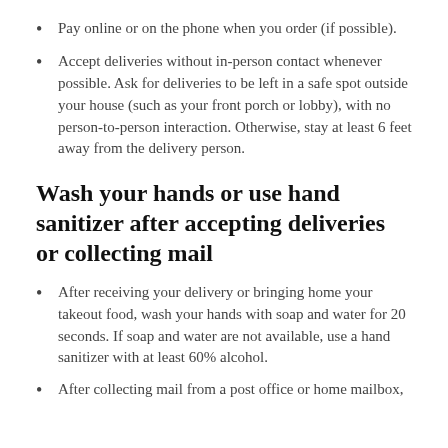Pay online or on the phone when you order (if possible).
Accept deliveries without in-person contact whenever possible. Ask for deliveries to be left in a safe spot outside your house (such as your front porch or lobby), with no person-to-person interaction. Otherwise, stay at least 6 feet away from the delivery person.
Wash your hands or use hand sanitizer after accepting deliveries or collecting mail
After receiving your delivery or bringing home your takeout food, wash your hands with soap and water for 20 seconds. If soap and water are not available, use a hand sanitizer with at least 60% alcohol.
After collecting mail from a post office or home mailbox,